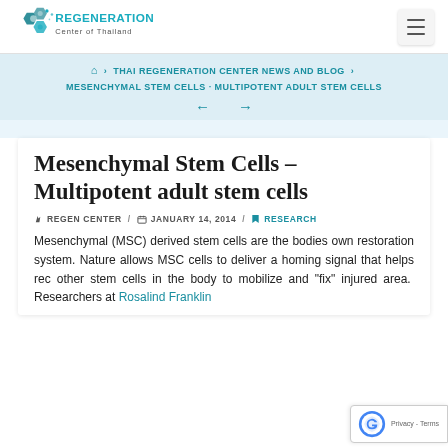REGENERATION Center of Thailand
🏠 › THAI REGENERATION CENTER NEWS AND BLOG › MESENCHYMAL STEM CELLS - MULTIPOTENT ADULT STEM CELLS ← →
Mesenchymal Stem Cells – Multipotent adult stem cells
✏ REGEN CENTER / 📅 JANUARY 14, 2014 / 🔖 RESEARCH
Mesenchymal (MSC) derived stem cells are the bodies own restoration system. Nature allows MSC cells to deliver a homing signal that helps rec other stem cells in the body to mobilize and "fix" injured area. Researchers at Rosalind Franklin